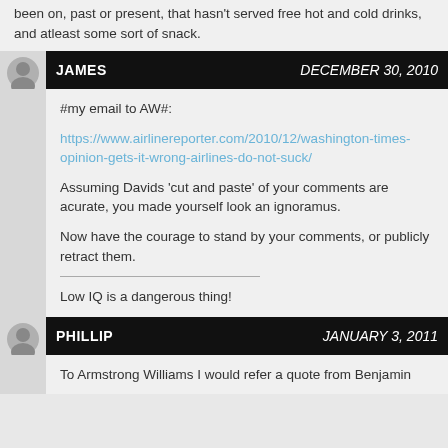been on, past or present, that hasn't served free hot and cold drinks, and atleast some sort of snack.
JAMES    DECEMBER 30, 2010
#my email to AW#:
https://www.airlinereporter.com/2010/12/washington-times-opinion-gets-it-wrong-airlines-do-not-suck/
Assuming Davids 'cut and paste' of your comments are acurate, you made yourself look an ignoramus.
Now have the courage to stand by your comments, or publicly retract them.
Low IQ is a dangerous thing!
PHILLIP    JANUARY 3, 2011
To Armstrong Williams I would refer a quote from Benjamin